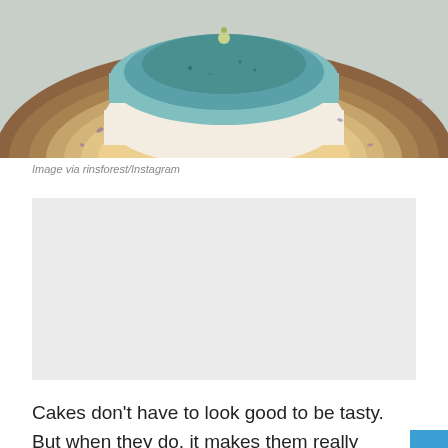[Figure (photo): Top portion of a layered cake on a wood slice, with blue-green and cream colored layers, viewed from above. Small flower decoration on top. Some purple petals scattered around.]
Image via rinsforest/Instagram
[Figure (other): Advertisement placeholder box (light gray)]
Cakes don't have to look good to be tasty. But when they do, it makes them really special and worth of admiration. One of